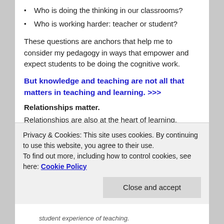Who is doing the thinking in our classrooms?
Who is working harder: teacher or student?
These questions are anchors that help me to consider my pedagogy in ways that empower and expect students to be doing the cognitive work.
But knowledge and teaching are not all that matters in teaching and learning. >>>
Relationships matter.
Relationships are also at the heart of learning.
Privacy & Cookies: This site uses cookies. By continuing to use this website, you agree to their use.
To find out more, including how to control cookies, see here: Cookie Policy
student experience of teaching.